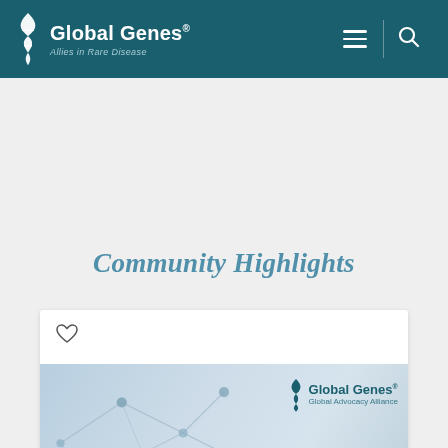Global Genes® — Allies in Rare Disease
Community Highlights
[Figure (screenshot): Global Genes website screenshot showing Community Highlights section with a card containing a heart icon and a banner image featuring molecule network background and Global Genes Global Advocacy Alliance logo]